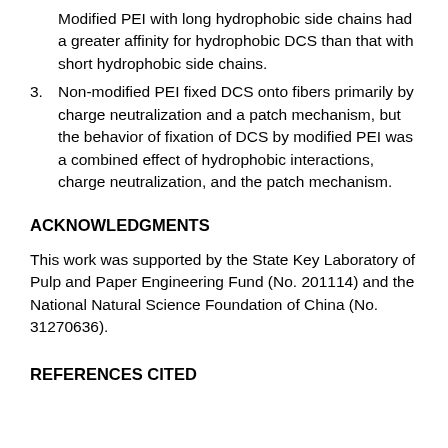Modified PEI with long hydrophobic side chains had a greater affinity for hydrophobic DCS than that with short hydrophobic side chains.
3. Non-modified PEI fixed DCS onto fibers primarily by charge neutralization and a patch mechanism, but the behavior of fixation of DCS by modified PEI was a combined effect of hydrophobic interactions, charge neutralization, and the patch mechanism.
ACKNOWLEDGMENTS
This work was supported by the State Key Laboratory of Pulp and Paper Engineering Fund (No. 201114) and the National Natural Science Foundation of China (No. 31270636).
REFERENCES CITED